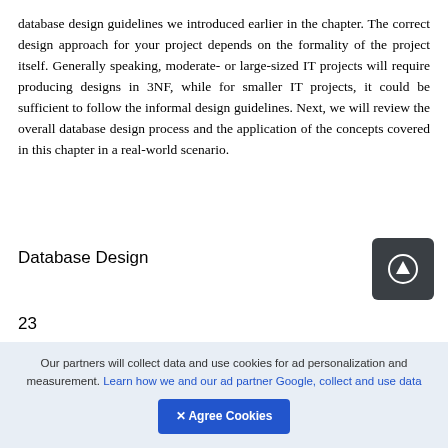database design guidelines we introduced earlier in the chapter. The correct design approach for your project depends on the formality of the project itself. Generally speaking, moderate- or large-sized IT projects will require producing designs in 3NF, while for smaller IT projects, it could be sufficient to follow the informal design guidelines. Next, we will review the overall database design process and the application of the concepts covered in this chapter in a real-world scenario.
Database Design
[Figure (other): Dark square icon button with a circled upward arrow symbol]
23
DESIGN PROCESS. The database design process
Our partners will collect data and use cookies for ad personalization and measurement. Learn how we and our ad partner Google, collect and use data
✕ Agree Cookies